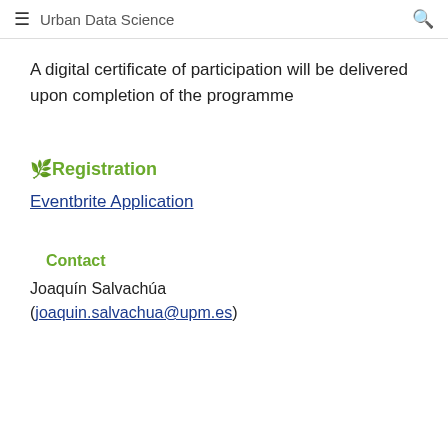Urban Data Science
A digital certificate of participation will be delivered upon completion of the programme
🌿Registration
Eventbrite Application
Contact
Joaquín Salvachúa
(joaquin.salvachua@upm.es)